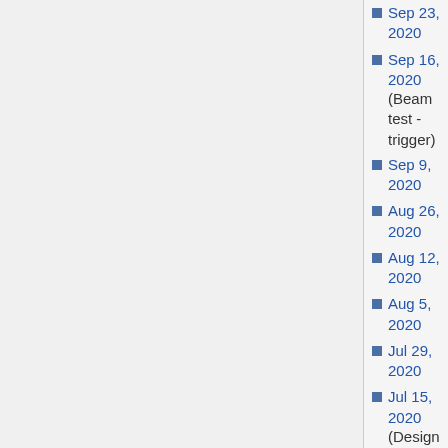Sep 23, 2020
Sep 16, 2020 (Beam test - trigger)
Sep 9, 2020
Aug 26, 2020
Aug 12, 2020
Aug 5, 2020
Jul 29, 2020
Jul 15, 2020 (Design Screen Shots)
Jul 8, 2020
Jun 17, 2020
Jun 10, 2020
Jun 3, 2020
May 27, 2020
May 20, 2020
May 6, 2020
Apr 29, 2020
Apr 22, 2020